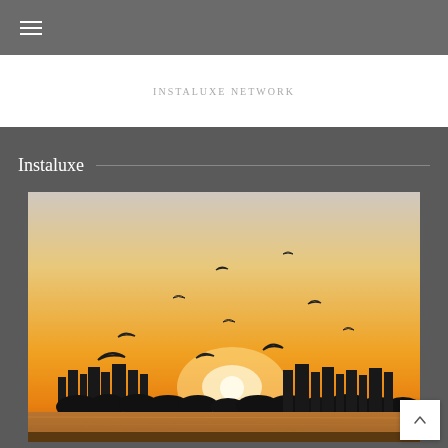☰ (navigation menu icon)
INSTALUXE NETWORK
Instaluxe
[Figure (photo): Sunset cityscape with birds flying over a city skyline silhouetted against a warm orange and yellow sunset sky, reflected on water in the foreground]